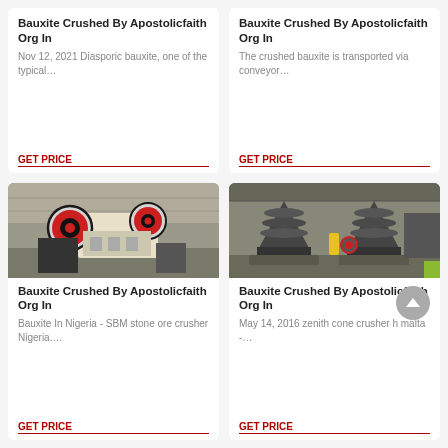Bauxite Crushed By Apostolicfaith Org In
Nov 12, 2021 Diasporic bauxite, one of the typical…
GET PRICE
Bauxite Crushed By Apostolicfaith Org In
The crushed bauxite is transported via conveyor…
GET PRICE
[Figure (photo): Industrial jaw crusher machine with large red and black flywheels in a factory setting]
Bauxite Crushed By Apostolicfaith Org In
Bauxite In Nigeria - SBM stone ore crusher Nigeria….
GET PRICE
[Figure (photo): Multiple cone crusher machines on pallets in an industrial warehouse]
Bauxite Crushed By Apostolicfaith Org In
May 14, 2016 zenith cone crusher h malta -…
GET PRICE